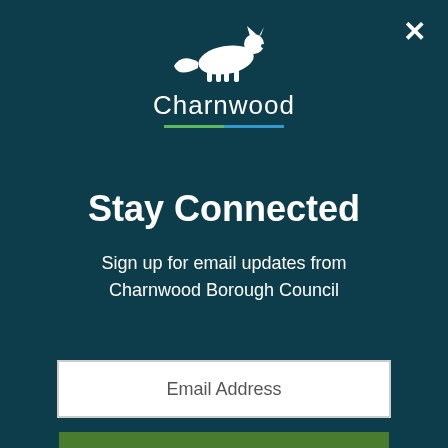[Figure (logo): Charnwood Borough Council logo with a white running fox above the text 'Charnwood' and a green/blue underline]
Stay Connected
Sign up for email updates from Charnwood Borough Council
Email Address
SUBSCRIBE
No Thanks   Remind Me Later
| CD9.11 | Baines M |
| CD9.12 | Barkham J |
| CD9.13 | Bates A |